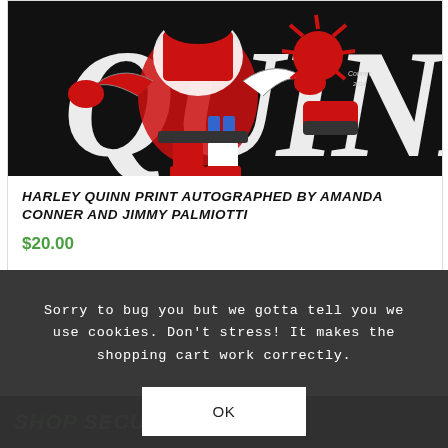[Figure (illustration): Comic book art showing Harley Quinn character on black background with red and white costume, text 'QUINN' visible]
HARLEY QUINN PRINT AUTOGRAPHED BY AMANDA CONNER AND JIMMY PALMIOTTI
$20.00
Sorry to bug you but we gotta tell you we use cookies. Don't stress! It makes the shopping cart work correctly.
OK
SHOP SECURELY!